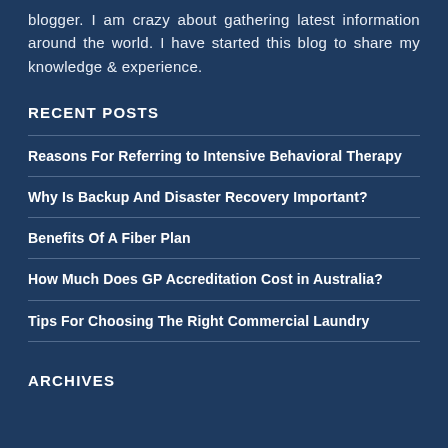blogger. I am crazy about gathering latest information around the world. I have started this blog to share my knowledge & experience.
RECENT POSTS
Reasons For Referring to Intensive Behavioral Therapy
Why Is Backup And Disaster Recovery Important?
Benefits Of A Fiber Plan
How Much Does GP Accreditation Cost in Australia?
Tips For Choosing The Right Commercial Laundry
ARCHIVES